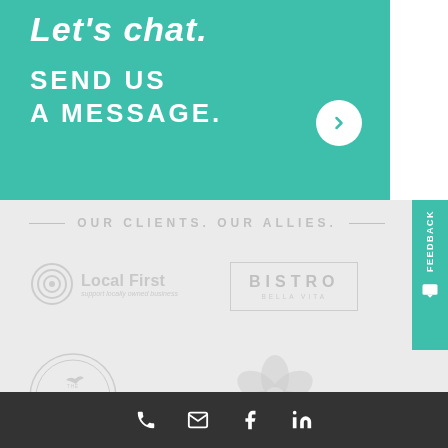Let's chat.
SEND US A MESSAGE.
OUR CLIENTS. OUR ALLIES.
[Figure (logo): Local First – support locally owned business logo, circular spiral icon with text]
[Figure (logo): Bistro Bella Vita logo, text in bordered rectangle]
[Figure (logo): The Green Well circular badge logo with bird icon]
[Figure (logo): Eco/flower-shaped logo partially visible]
Feedback
Phone, email, Facebook, LinkedIn icons